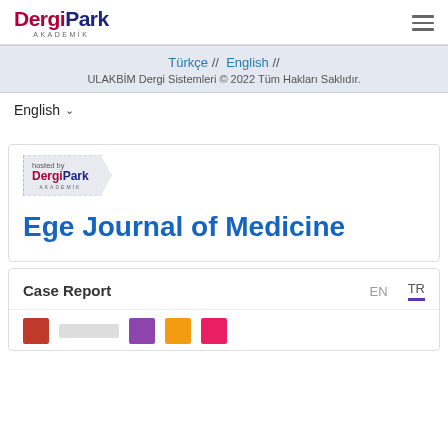DergiPark AKADEMİK
Türkçe // English //
ULAKBİM Dergi Sistemleri © 2022 Tüm Hakları Saklıdır.
English ▾
[Figure (logo): hosted by DergiPark AKADEMİK banner logo]
Ege Journal of Medicine
Case Report
EN   TR